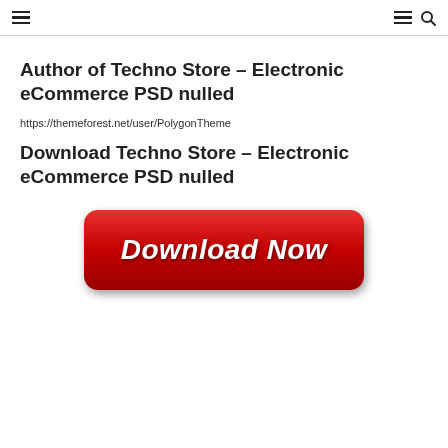☰  ☰ 🔍
Author of Techno Store – Electronic eCommerce PSD nulled
https://themeforest.net/user/PolygonTheme
Download Techno Store – Electronic eCommerce PSD nulled
[Figure (other): A red rounded rectangle button with white bold italic text reading 'Download Now']